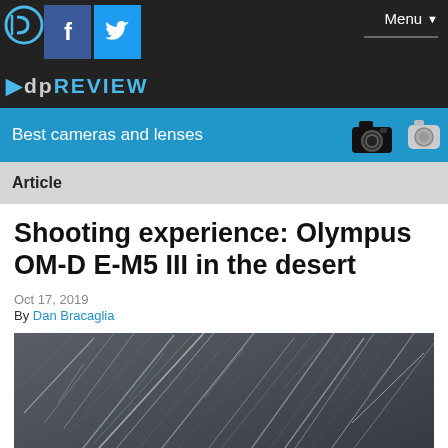DPReview — Best cameras and lenses | Menu
Article
Shooting experience: Olympus OM-D E-M5 III in the desert
Oct 17, 2019
By Dan Bracaglia
[Figure (photo): Star trails photograph taken in the desert, showing streaks of light across a dark grey sky, captured with long-exposure photography.]